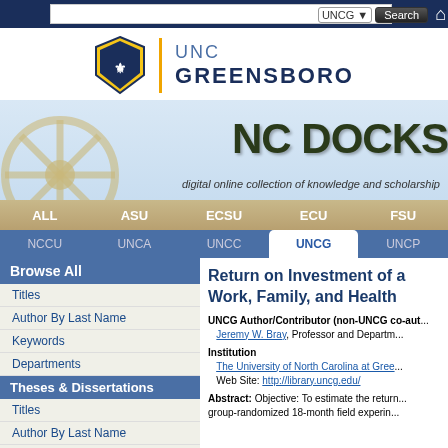[Figure (screenshot): NC DOCKS digital repository website screenshot showing UNCG (University of North Carolina at Greensboro) library portal with navigation, logo, and search results page]
UNCG Search
Return on Investment of a Work, Family, and Health
UNCG Author/Contributor (non-UNCG co-aut... Jeremy W. Bray, Professor and Departm...
Institution
The University of North Carolina at Gree...
Web Site: http://library.uncg.edu/
Abstract: Objective: To estimate the return... group-randomized 18-month field experin...
Browse All
Titles
Author By Last Name
Keywords
Departments
Theses & Dissertations
Titles
Author By Last Name